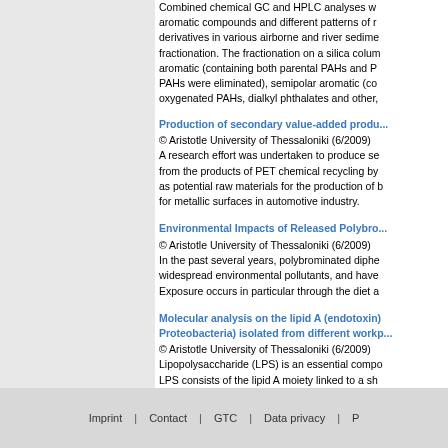Combined chemical GC and HPLC analyses w... aromatic compounds and different patterns of r... derivatives in various airborne and river sedime... fractionation. The fractionation on a silica colum... aromatic (containing both parental PAHs and P... PAHs were eliminated), semipolar aromatic (co... oxygenated PAHs, dialkyl phthalates and other,
Production of secondary value-added produ...
© Aristotle University of Thessaloniki (6/2009) A research effort was undertaken to produce se... from the products of PET chemical recycling by... as potential raw materials for the production of ... for metallic surfaces in automotive industry.
Environmental Impacts of Released Polybro...
© Aristotle University of Thessaloniki (6/2009) In the past several years, polybrominated diphe... widespread environmental pollutants, and have ... Exposure occurs in particular through the diet a...
Molecular analysis on the lipid A (endotoxin)... Proteobacteria) isolated from different workp...
© Aristotle University of Thessaloniki (6/2009) Lipopolysaccharide (LPS) is an essential compo... LPS consists of the lipid A moiety linked to a sh... polysaccharide chain. The most biologically acti... activator of monocytes to release immune stimu... be present on the bioaerosol at different workpl...
Imprint | Contact | GTC | Data privacy | P...